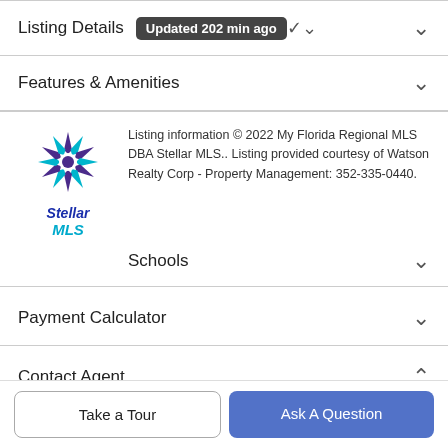Listing Details — Updated 202 min ago
Features & Amenities
Listing information © 2022 My Florida Regional MLS DBA Stellar MLS.. Listing provided courtesy of Watson Realty Corp - Property Management: 352-335-0440.
Schools
Payment Calculator
Contact Agent
Take a Tour
Ask A Question